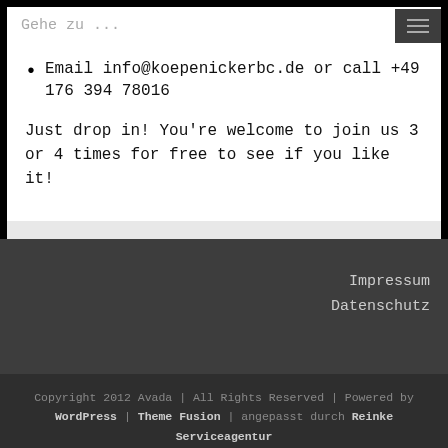Gehe zu ...
Email info@koepenickerbc.de or call +49 176 394 78016
Just drop in! You're welcome to join us 3 or 4 times for free to see if you like it!
Impressum
Datenschutz
Copyright 2012 Avada | All Rights Reserved | Powered by WordPress | Theme Fusion | angepasst durch Reinke Serviceagentur